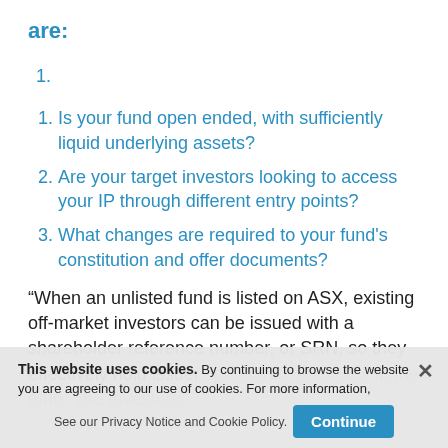are:
Is your fund open ended, with sufficiently liquid underlying assets?
Are your target investors looking to access your IP through different entry points?
What changes are required to your fund's constitution and offer documents?
“When an unlisted fund is listed on ASX, existing off-market investors can be issued with a shareholder reference number, or SRN, so they effectively hold issuer sponsored securities in the fund. The investors...
This website uses cookies. By continuing to browse the website you are agreeing to our use of cookies. For more information, See our Privacy Notice and Cookie Policy. Continue